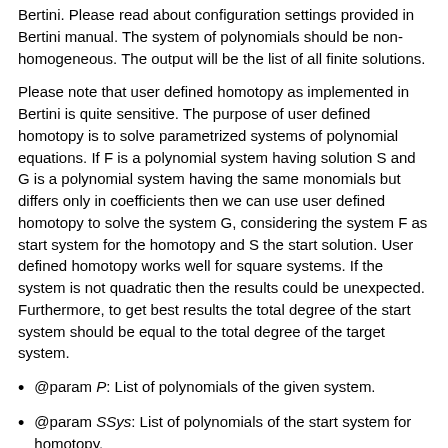Bertini. Please read about configuration settings provided in Bertini manual. The system of polynomials should be non-homogeneous. The output will be the list of all finite solutions.
Please note that user defined homotopy as implemented in Bertini is quite sensitive. The purpose of user defined homotopy is to solve parametrized systems of polynomial equations. If F is a polynomial system having solution S and G is a polynomial system having the same monomials but differs only in coefficients then we can use user defined homotopy to solve the system G, considering the system F as start system for the homotopy and S the start solution. User defined homotopy works well for square systems. If the system is not quadratic then the results could be unexpected. Furthermore, to get best results the total degree of the start system should be equal to the total degree of the target system.
@param P: List of polynomials of the given system.
@param SSys: List of polynomials of the start system for homotopy.